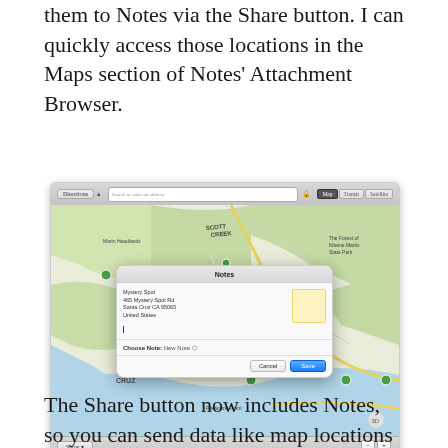them to Notes via the Share button. I can quickly access those locations in the Maps section of Notes' Attachment Browser.
[Figure (screenshot): Screenshot of macOS Maps app showing a map of the Santa Cruz/Monterey coast area, with a Notes sharing dialog open. The dialog is titled 'Notes' and shows location details for 'Mystery Spot, 465 Mystery Spot Rd, Santa Cruz CA 95065, United States', with a Choose Note dropdown set to 'New Note', and Cancel and Save buttons.]
The Share button now includes Notes, so you can send data like map locations directly into the app.